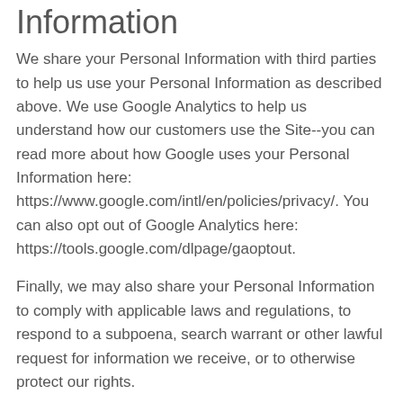Information
We share your Personal Information with third parties to help us use your Personal Information as described above. We use Google Analytics to help us understand how our customers use the Site--you can read more about how Google uses your Personal Information here: https://www.google.com/intl/en/policies/privacy/. You can also opt out of Google Analytics here: https://tools.google.com/dlpage/gaoptout.
Finally, we may also share your Personal Information to comply with applicable laws and regulations, to respond to a subpoena, search warrant or other lawful request for information we receive, or to otherwise protect our rights.
Do Not Track
Please note that we do not alter our Site's data